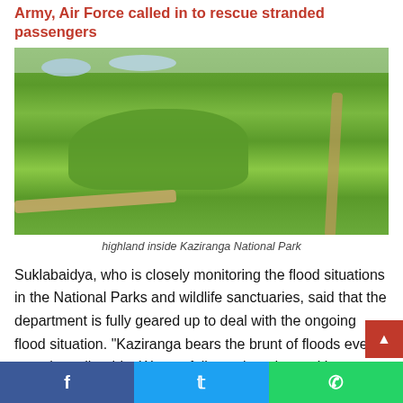Army, Air Force called in to rescue stranded passengers
[Figure (photo): Aerial view of highland inside Kaziranga National Park showing green grasslands, water patches, a mound/elevated area, and dirt paths.]
highland inside Kaziranga National Park
Suklabaidya, who is closely monitoring the flood situations in the National Parks and wildlife sanctuaries, said that the department is fully geared up to deal with the ongoing flood situation. “Kaziranga bears the brunt of floods every year, b[ut] small or big. We are fully equipped to tackle any sort of
[Figure (infographic): Social share bar with Facebook, Twitter, and WhatsApp buttons]